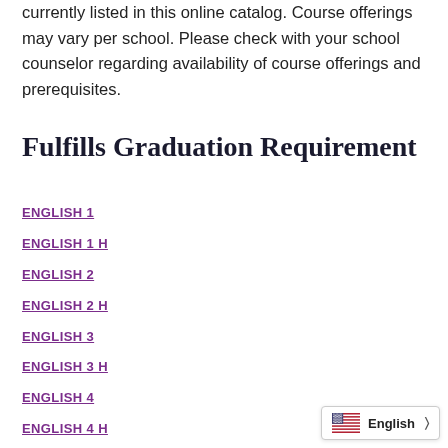currently listed in this online catalog. Course offerings may vary per school. Please check with your school counselor regarding availability of course offerings and prerequisites.
Fulfills Graduation Requirement
ENGLISH 1
ENGLISH 1 H
ENGLISH 2
ENGLISH 2 H
ENGLISH 3
ENGLISH 3 H
ENGLISH 4
ENGLISH 4 H